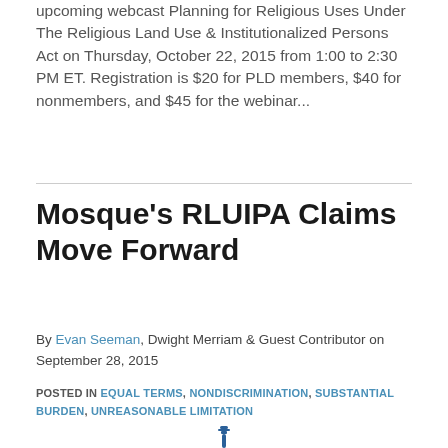upcoming webcast Planning for Religious Uses Under The Religious Land Use & Institutionalized Persons Act on Thursday, October 22, 2015 from 1:00 to 2:30 PM ET. Registration is $20 for PLD members, $40 for nonmembers, and $45 for the webinar...
Mosque's RLUIPA Claims Move Forward
By Evan Seeman, Dwight Merriam & Guest Contributor on September 28, 2015
POSTED IN EQUAL TERMS, NONDISCRIMINATION, SUBSTANTIAL BURDEN, UNREASONABLE LIMITATION
[Figure (illustration): Partial illustration of a figure or icon at the bottom center of the page, appears to be a decorative symbol in blue.]